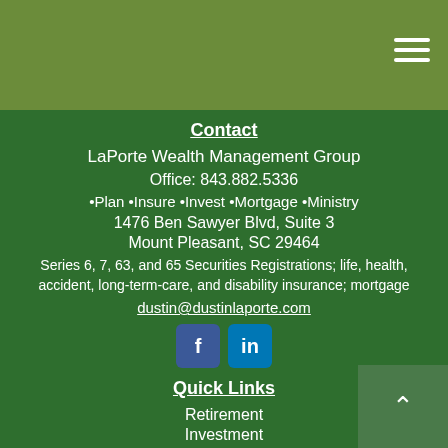[Figure (other): Olive/dark yellow-green header bar with hamburger menu icon (three horizontal white lines) in top right corner]
Contact
LaPorte Wealth Management Group
Office: 843.882.5336
•Plan •Insure •Invest •Mortgage •Ministry
1476 Ben Sawyer Blvd, Suite 3
Mount Pleasant, SC 29464
Series 6, 7, 63, and 65 Securities Registrations; life, health, accident, long-term-care, and disability insurance; mortgage
dustin@dustinlaporte.com
[Figure (logo): Facebook and LinkedIn social media icon buttons]
Quick Links
Retirement
Investment
Estate
Insurance
Tax